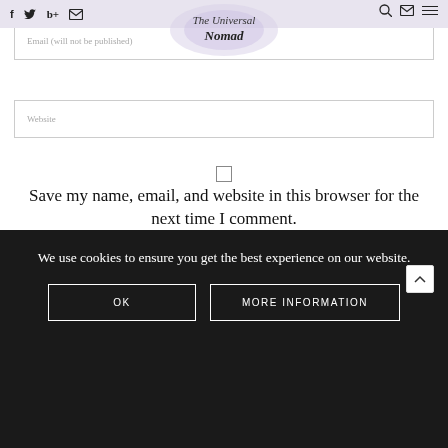The Universal Nomad — navigation bar with social icons, logo, search, email, and menu
Email (will not be published)
Website
Save my name, email, and website in this browser for the next time I comment.
POST COMMENT
No Comments Yet.
We use cookies to ensure you get the best experience on our website.
OK
MORE INFORMATION